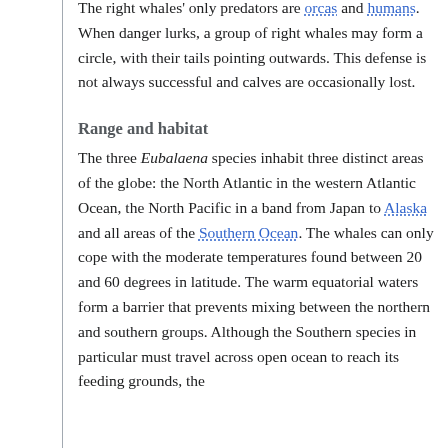The right whales' only predators are orcas and humans. When danger lurks, a group of right whales may form a circle, with their tails pointing outwards. This defense is not always successful and calves are occasionally lost.
Range and habitat
The three Eubalaena species inhabit three distinct areas of the globe: the North Atlantic in the western Atlantic Ocean, the North Pacific in a band from Japan to Alaska and all areas of the Southern Ocean. The whales can only cope with the moderate temperatures found between 20 and 60 degrees in latitude. The warm equatorial waters form a barrier that prevents mixing between the northern and southern groups. Although the Southern species in particular must travel across open ocean to reach its feeding grounds, the